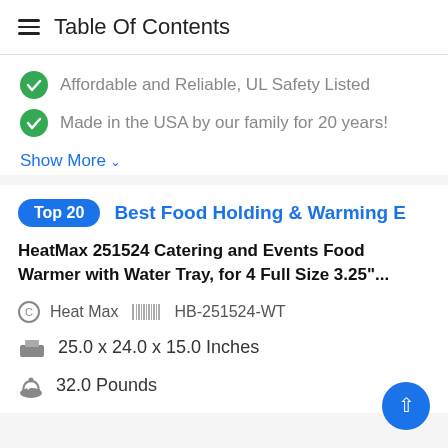Table Of Contents
Affordable and Reliable, UL Safety Listed
Made in the USA by our family for 20 years!
Show More
Top 20   Best Food Holding & Warming E
HeatMax 251524 Catering and Events Food Warmer with Water Tray, for 4 Full Size 3.25"...
Heat Max   HB-251524-WT
25.0 x 24.0 x 15.0 Inches
32.0 Pounds